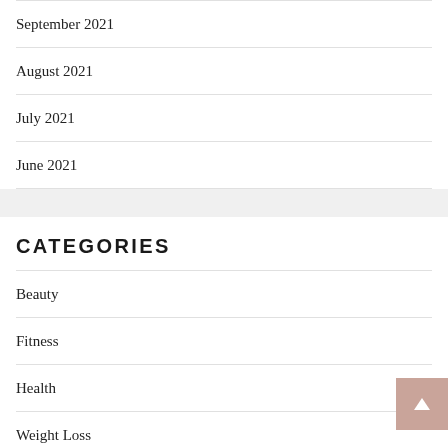September 2021
August 2021
July 2021
June 2021
CATEGORIES
Beauty
Fitness
Health
Weight Loss